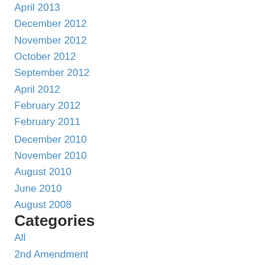April 2013
December 2012
November 2012
October 2012
September 2012
April 2012
February 2012
February 2011
December 2010
November 2010
August 2010
June 2010
August 2008
Categories
All
2nd Amendment